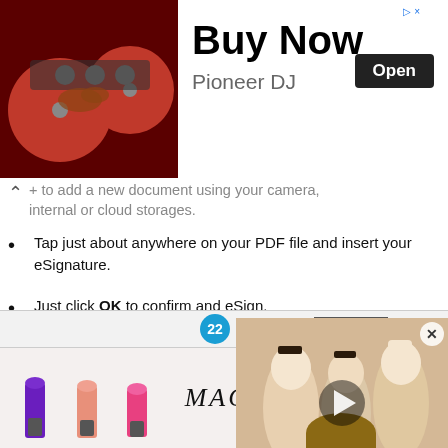[Figure (screenshot): Top advertisement banner for Pioneer DJ: DJ hands on red turntables image on left, 'Buy Now' headline, 'Open' button, and 'Pioneer DJ' brand name on right]
...+ to add a new document using your camera, internal or cloud storages.
Tap just about anywhere on your PDF file and insert your eSignature.
Just click OK to confirm and eSign.
Experience a lot more modifications like importing pictures, rearrange equation documents with a template, etc.
Click on Save to apply changes.
Use the Invite to sign tool if you wish to establish and send a signing link to users.
[Figure (screenshot): Video overlay popup showing Japanese ukiyo-e style artwork of women around a barrel, with play button and close (X) button]
[Figure (screenshot): Bottom notification bar with teal badge showing '22' and a grey 'CLOSE' button]
[Figure (screenshot): Bottom advertisement banner for MAC cosmetics showing lipsticks in purple, pink, and red with MAC logo and 'SHOP NOW' button]